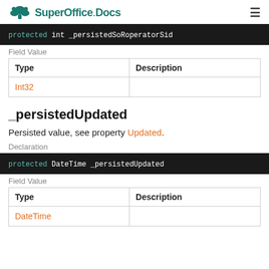SuperOffice.Docs
protected int _persistedSoRoperatorSid
Field Value
| Type | Description |
| --- | --- |
| Int32 |  |
_persistedUpdated
Persisted value, see property Updated.
Declaration
protected DateTime _persistedUpdated
Field Value
| Type | Description |
| --- | --- |
| DateTime |  |